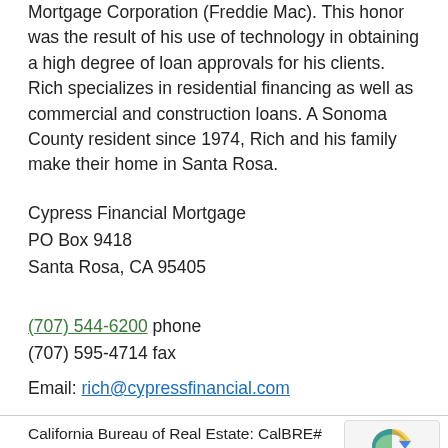Mortgage Corporation (Freddie Mac). This honor was the result of his use of technology in obtaining a high degree of loan approvals for his clients. Rich specializes in residential financing as well as commercial and construction loans. A Sonoma County resident since 1974, Rich and his family make their home in Santa Rosa.
Cypress Financial Mortgage
PO Box 9418
Santa Rosa, CA 95405
(707) 544-6200 phone
(707) 595-4714 fax
Email: rich@cypressfinancial.com
California Bureau of Real Estate: CalBRE# 00886043
National Mortgage Licensing System: NMLS# 205998